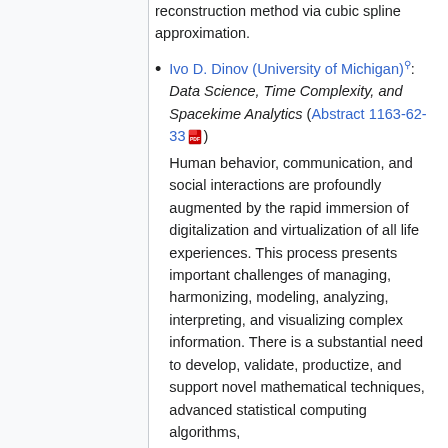reconstruction method via cubic spline approximation.
Ivo D. Dinov (University of Michigan): Data Science, Time Complexity, and Spacekime Analytics (Abstract 1163-62-33)
Human behavior, communication, and social interactions are profoundly augmented by the rapid immersion of digitalization and virtualization of all life experiences. This process presents important challenges of managing, harmonizing, modeling, analyzing, interpreting, and visualizing complex information. There is a substantial need to develop, validate, productize, and support novel mathematical techniques, advanced statistical computing algorithms,